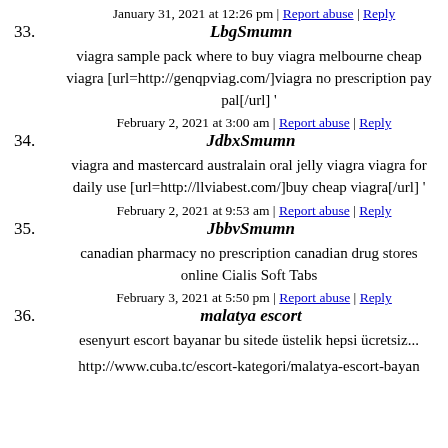33. LbgSmumn — January 31, 2021 at 12:26 pm | Report abuse | Reply
viagra sample pack where to buy viagra melbourne cheap viagra [url=http://genqpviag.com/]viagra no prescription pay pal[/url] '
34. JdbxSmumn — February 2, 2021 at 3:00 am | Report abuse | Reply
viagra and mastercard australain oral jelly viagra viagra for daily use [url=http://llviabest.com/]buy cheap viagra[/url] '
35. JbbvSmumn — February 2, 2021 at 9:53 am | Report abuse | Reply
canadian pharmacy no prescription canadian drug stores online Cialis Soft Tabs
36. malatya escort — February 3, 2021 at 5:50 pm | Report abuse | Reply
esenyurt escort bayanar bu sitede üstelik hepsi ücretsiz...
http://www.cuba.tc/escort-kategori/malatya-escort-bayan